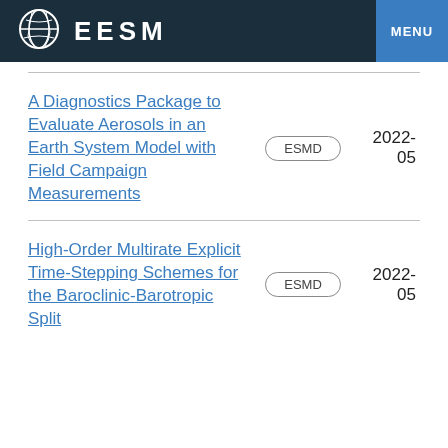EESM  MENU
A Diagnostics Package to Evaluate Aerosols in an Earth System Model with Field Campaign Measurements
ESMD  2022-05
High-Order Multirate Explicit Time-Stepping Schemes for the Baroclinic-Barotropic Split
ESMD  2022-05